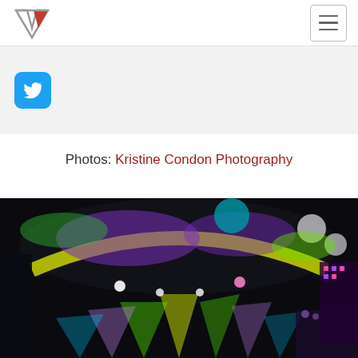Navigation bar with logo and hamburger menu
[Figure (other): Twitter/social share bar with Twitter icon button on gray background]
Photos: Kristine Condon Photography
[Figure (photo): Concert venue ceiling fisheye photo with colorful stage lights including yellow, green, purple, and cyan lights with beams radiating from below]